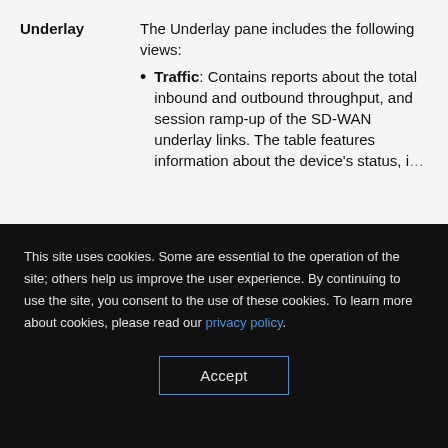Underlay — The Underlay pane includes the following views:
Traffic: Contains reports about the total inbound and outbound throughput, and session ramp-up of the SD-WAN underlay links. The table features information about the device's status, interfaces, the underlay...
This site uses cookies. Some are essential to the operation of the site; others help us improve the user experience. By continuing to use the site, you consent to the use of these cookies. To learn more about cookies, please read our privacy policy.